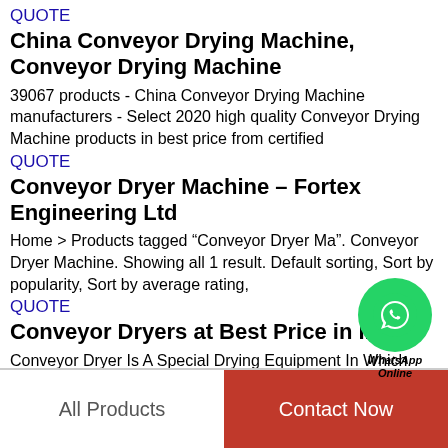QUOTE
China Conveyor Drying Machine, Conveyor Drying Machine
39067 products - China Conveyor Drying Machine manufacturers - Select 2020 high quality Conveyor Drying Machine products in best price from certified
QUOTE
Conveyor Dryer Machine – Fortex Engineering Ltd
Home > Products tagged “Conveyor Dryer Machine”. Conveyor Dryer Machine. Showing all 1 result. Default sorting, Sort by popularity, Sort by average rating,
QUOTE
Conveyor Dryers at Best Price in India
Conveyor Dryer Is A Special Drying Equipment In Which Material Is Placed On Conveyor Belt While It Is Heated By Electrical/ Other Sources. Shri Krishna
[Figure (logo): WhatsApp Online green circle badge with phone icon and text WhatsApp Online]
All Products
Contact Now